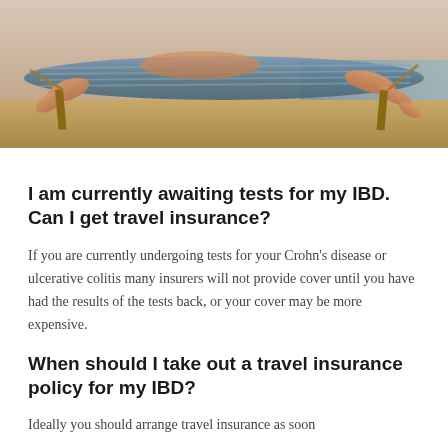[Figure (photo): Person relaxing in a hammock on a beach, legs visible, ocean in background]
I am currently awaiting tests for my IBD. Can I get travel insurance?
If you are currently undergoing tests for your Crohn's disease or ulcerative colitis many insurers will not provide cover until you have had the results of the tests back, or your cover may be more expensive.
When should I take out a travel insurance policy for my IBD?
Ideally you should arrange travel insurance as soon